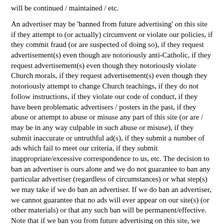will be continued / maintained / etc.
An advertiser may be 'banned from future advertising' on this site if they attempt to (or actually) circumvent or violate our policies, if they commit fraud (or are suspected of doing so), if they request advertisement(s) even though are notoriously anti-Catholic, if they request advertisement(s) even though they notoriously violate Church morals, if they request advertisement(s) even though they notoriously attempt to change Church teachings, if they do not follow instructions, if they violate our code of conduct, if they have been problematic advertisers / posters in the past, if they abuse or attempt to abuse or misuse any part of this site (or are / may be in any way culpable in such abuse or misuse), if they submit inaccurate or untruthful ad(s), if they submit a number of ads which fail to meet our criteria, if they submit inappropriate/excessive correspondence to us, etc. The decision to ban an advertiser is ours alone and we do not guarantee to ban any particular advertiser (regardless of circumstances) or what step(s) we may take if we do ban an advertiser. If we do ban an advertiser, we cannot guarantee that no ads will ever appear on our site(s) (or other materials) or that any such ban will be permanent/effective. Note that if we ban you from future advertising on this site, we may automatically preprocess and unschedule your future ads and/or process and unschedule your future ads. We may unschedule any ads presently appearing on the site. The choice of which option(s) we may take is at our sole discretion. Furthermore, we may also take steps to